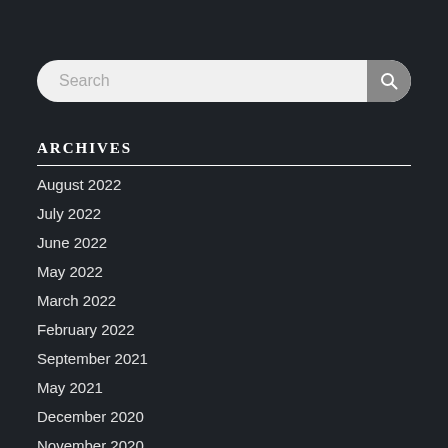[Figure (screenshot): Search bar with rounded corners and a search button icon on the right]
ARCHIVES
August 2022
July 2022
June 2022
May 2022
March 2022
February 2022
September 2021
May 2021
December 2020
November 2020
September 2020